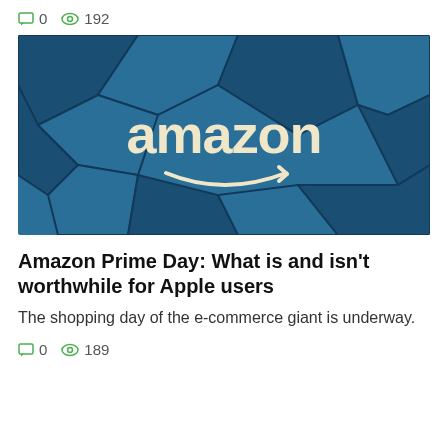0  192
[Figure (photo): Amazon logo on a blue geometric patterned background. The word 'amazon' is displayed in large beige lettering with the characteristic arrow smile logo beneath it.]
Amazon Prime Day: What is and isn't worthwhile for Apple users
The shopping day of the e-commerce giant is underway.
0  189